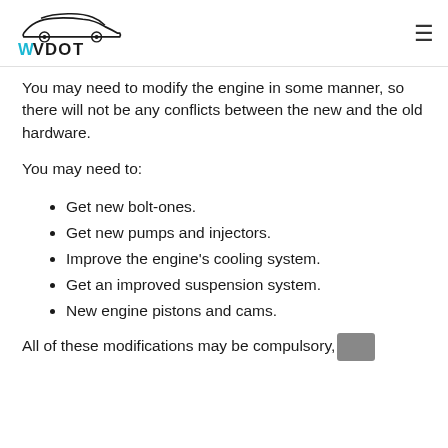WVDOT
You may need to modify the engine in some manner, so there will not be any conflicts between the new and the old hardware.
You may need to:
Get new bolt-ones.
Get new pumps and injectors.
Improve the engine's cooling system.
Get an improved suspension system.
New engine pistons and cams.
All of these modifications may be compulsory,